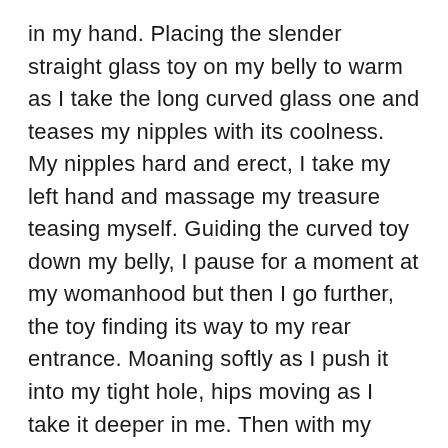in my hand. Placing the slender straight glass toy on my belly to warm as I take the long curved glass one and teases my nipples with its coolness. My nipples hard and erect, I take my left hand and massage my treasure teasing myself. Guiding the curved toy down my belly, I pause for a moment at my womanhood but then I go further, the toy finding its way to my rear entrance. Moaning softly as I push it into my tight hole, hips moving as I take it deeper in me. Then with my other hand I take the other toy sliding it easily in my womanhood. My arms causing my chest to be squeezed together as my hands work the toys in and out of both my holes. Working them faster as I think of my devil, her hands touching me exploring me as she kisses down my chest to my belly. My right hand now holding both my toys as I continue to fuck myself, my knees coming together as I buck harder against them, each thrust taking them deeper. Closing my eyes tight as the orgasm ravages my body